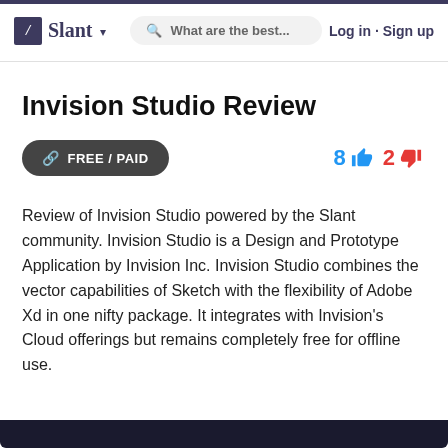/ Slant  What are the best...  Log in · Sign up
Invision Studio Review
FREE / PAID  8 👍  2 👎
Review of Invision Studio powered by the Slant community. Invision Studio is a Design and Prototype Application by Invision Inc. Invision Studio combines the vector capabilities of Sketch with the flexibility of Adobe Xd in one nifty package. It integrates with Invision's Cloud offerings but remains completely free for offline use.